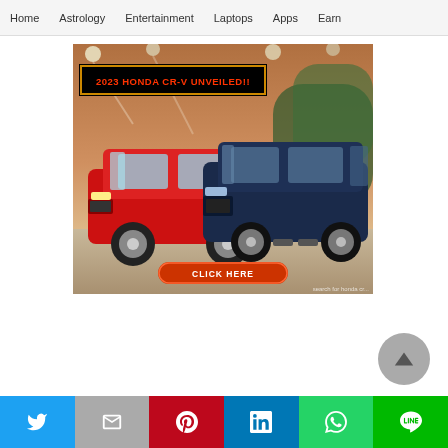Home | Astrology | Entertainment | Laptops | Apps | Earn
[Figure (photo): Advertisement showing two 2023 Honda CR-V SUVs (one red, one dark blue) on a display stage with studio lighting and trees in background. Black banner with orange border reads '2023 HONDA CR-V UNVEILED!!' in red text. Red oval button at bottom reads 'CLICK HERE'. Watermark: 'search for honda cr...']
[Figure (other): Gray circular scroll-to-top button with upward triangle arrow icon]
Twitter | Gmail | Pinterest | LinkedIn | WhatsApp | Line